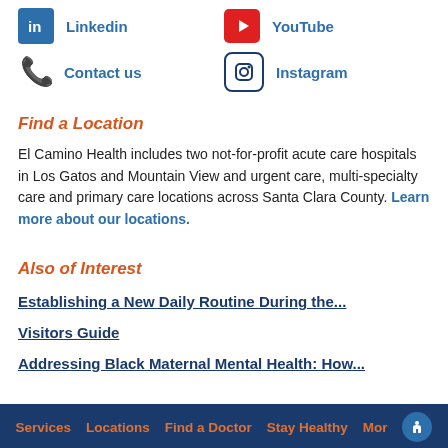Linkedin
YouTube
Contact us
Instagram
Find a Location
El Camino Health includes two not-for-profit acute care hospitals in Los Gatos and Mountain View and urgent care, multi-specialty care and primary care locations across Santa Clara County. Learn more about our locations.
Also of Interest
Establishing a New Daily Routine During the...
Visitors Guide
Addressing Black Maternal Mental Health: How...
Services   Locations   Find a Doctor   Stay Healthy   More